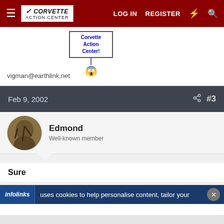Corvette Action Center — LOG IN  REGISTER
[Figure (illustration): Corvette Action Center pixel art sign held by emoji character, with email vigman@earthlink.net below]
vigman@earthlink.net
Feb 9, 2002   #3
Edmond
Well-known member
Sure
infolinks  uses cookies to help personalise content, tailor your